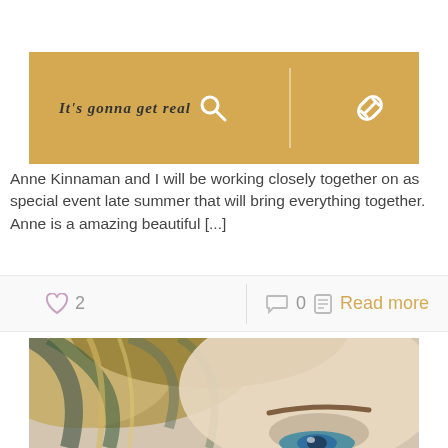[Figure (illustration): Gold/tan banner with cursive italic text 'It's gonna get real', a white search icon, a vertical divider, and a white link/chain icon on a golden background]
Anne Kinnaman and I will be working closely together on as special event late summer that will bring everything together. Anne is a amazing beautiful [...]
♡ 2   ○ 0   ▤ Read more
[Figure (photo): Close-up photo of a woman with blonde hair and blue eyes, shot from above looking down slightly]